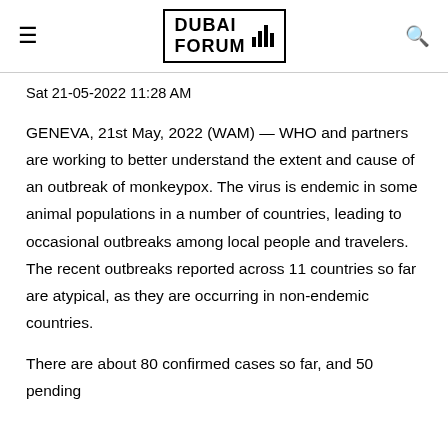DUBAI FORUM
Sat 21-05-2022 11:28 AM
GENEVA, 21st May, 2022 (WAM) — WHO and partners are working to better understand the extent and cause of an outbreak of monkeypox. The virus is endemic in some animal populations in a number of countries, leading to occasional outbreaks among local people and travelers. The recent outbreaks reported across 11 countries so far are atypical, as they are occurring in non-endemic countries.
There are about 80 confirmed cases so far, and 50 pending